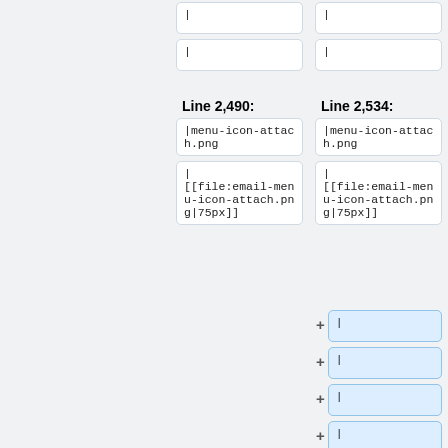|
|
|
|
Line 2,490:
Line 2,534:
|menu-icon-attach.png
|menu-icon-attach.png
|
[[file:email-menu-icon-attach.png|75px]]
|
[[file:email-menu-icon-attach.png|75px]]
|
|
|
|
|